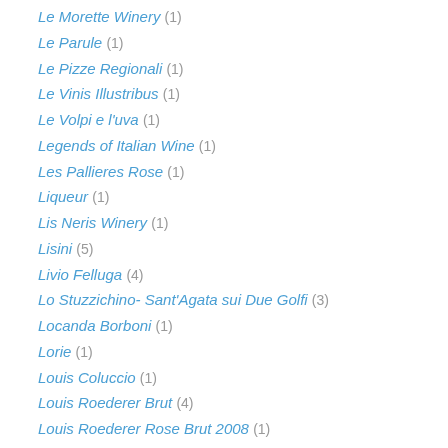Le Morette Winery (1)
Le Parule (1)
Le Pizze Regionali (1)
Le Vinis Illustribus (1)
Le Volpi e l'uva (1)
Legends of Italian Wine (1)
Les Pallieres Rose (1)
Liqueur (1)
Lis Neris Winery (1)
Lisini (5)
Livio Felluga (4)
Lo Stuzzichino- Sant'Agata sui Due Golfi (3)
Locanda Borboni (1)
Lorie (1)
Louis Coluccio (1)
Louis Roederer Brut (4)
Louis Roederer Rose Brut 2008 (1)
Luca Currado (1)
Luca Tommasini (1)